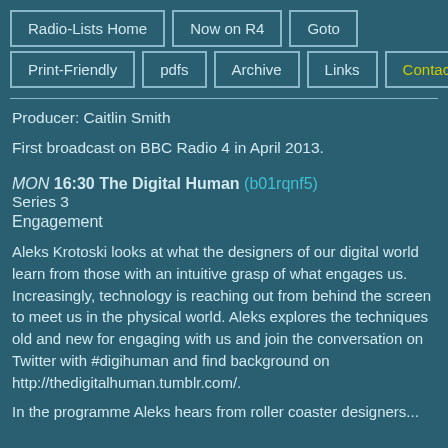Radio-Lists Home | Now on R4 | Goto | Print-Friendly | pdfs | Archive | Links | Contact
Producer: Caitlin Smith
First broadcast on BBC Radio 4 in April 2013.
MON 16:30 The Digital Human (b01rqnf5)
Series 3
Engagement
Aleks Krotoski looks at what the designers of our digital world learn from those with an intuitive grasp of what engages us. Increasingly, technology is reaching out from behind the screen to meet us in the physical world. Aleks explores the techniques old and new for engaging with us and join the conversation on Twitter with #digihuman and find background on http://thedigitalhuman.tumblr.com/.
In the programme Aleks hears from roller coaster designers...